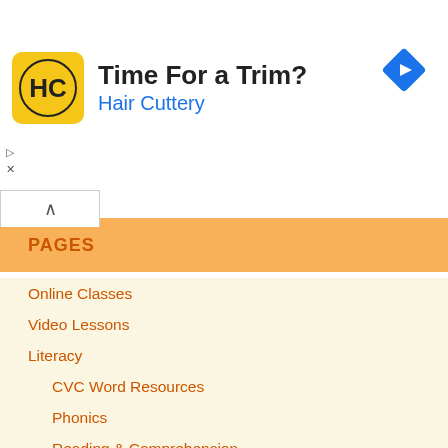[Figure (advertisement): Hair Cuttery ad banner with logo, tagline 'Time For a Trim?' and brand name 'Hair Cuttery' in blue, plus a blue navigation/arrow diamond icon]
PAGES
Online Classes
Video Lessons
Literacy
CVC Word Resources
Phonics
Reading & Comprehension
Grammar and Language
Writing & Text Types
Spelling Worksheets
Sight Words Resources
Literacy Games
Reading and Language Videos
Maths